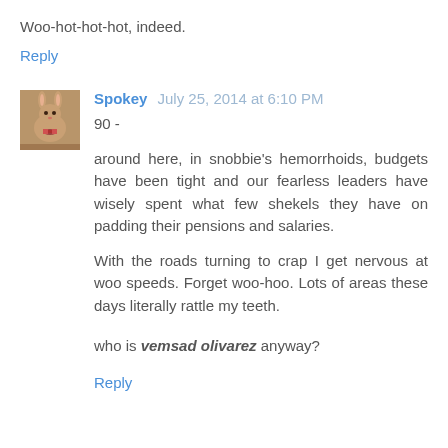Woo-hot-hot-hot, indeed.
Reply
Spokey  July 25, 2014 at 6:10 PM
90 -
around here, in snobbie's hemorrhoids, budgets have been tight and our fearless leaders have wisely spent what few shekels they have on padding their pensions and salaries.
With the roads turning to crap I get nervous at woo speeds. Forget woo-hoo. Lots of areas these days literally rattle my teeth.
who is vemsad olivarez anyway?
Reply